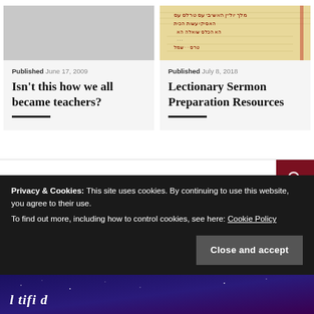[Figure (photo): Gray placeholder image for article card on the left]
Published June 17, 2009
Isn't this how we all became teachers?
[Figure (photo): Ancient Hebrew/Aramaic manuscript image with text in red and black ink]
Published July 8, 2018
Lectionary Sermon Preparation Resources
Search …
Privacy & Cookies: This site uses cookies. By continuing to use this website, you agree to their use.
To find out more, including how to control cookies, see here: Cookie Policy
Close and accept
[Figure (photo): Partially visible night sky / purple background image at bottom with italic text]